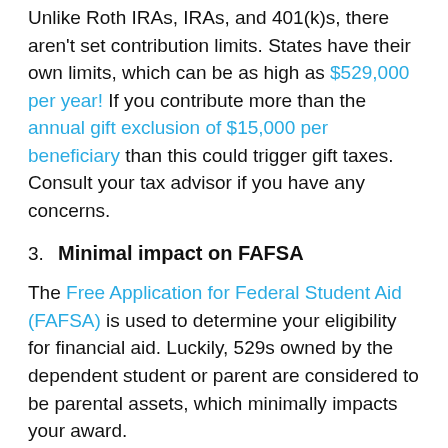Unlike Roth IRAs, IRAs, and 401(k)s, there aren't set contribution limits. States have their own limits, which can be as high as $529,000 per year! If you contribute more than the annual gift exclusion of $15,000 per beneficiary than this could trigger gift taxes. Consult your tax advisor if you have any concerns.
3. Minimal impact on FAFSA
The Free Application for Federal Student Aid (FAFSA) is used to determine your eligibility for financial aid. Luckily, 529s owned by the dependent student or parent are considered to be parental assets, which minimally impacts your award.
The first $20,000 of a 529 plan will fall under the Asset Protection Allowance. The remainder will reduce your beneficiary's aid by 5.64%. So, you'll lose just $564 per $10,000 in contributions to your child's 529 account.